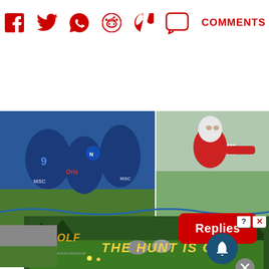[Figure (infographic): Social media share icons (Facebook, Twitter, WhatsApp, Reddit, Pinterest, Comments speech bubble) in red with COMMENTS label]
[Figure (photo): Napoli football players in blue jerseys celebrating]
[Figure (photo): Footballer in red jersey, white hair, outdoors]
Replies
Rangers to welcome table-topping star likened
Rangers' Champions League rivals dealt £85m Man kit...
[Figure (screenshot): Wolf game advertisement banner - THE HUNT IS ON!]